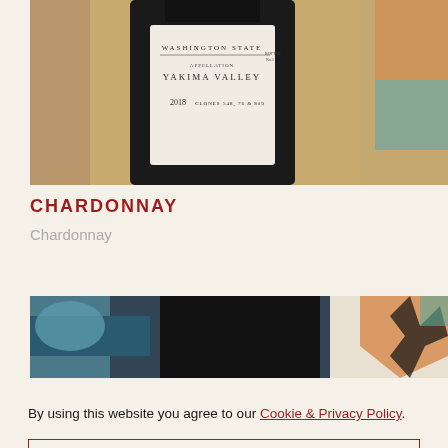[Figure (photo): Close-up of a wine bottle label reading WASHINGTON STATE, APPELLATION YAKIMA VALLEY, 2018, CLONES 548, 76 & 809]
CHARDONNAY
Chardonnay
[Figure (photo): Bottom portion of dark wine bottle with colorful background]
By using this website you agree to our Cookie & Privacy Policy.
OK